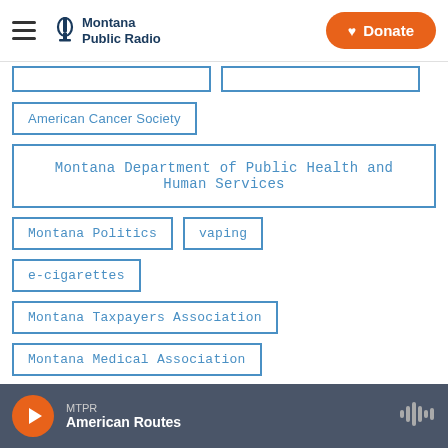Montana Public Radio | Donate
American Cancer Society
Montana Department of Public Health and Human Services
Montana Politics
vaping
e-cigarettes
Montana Taxpayers Association
Montana Medical Association
Ron Marshall
I-185
MTPR American Routes